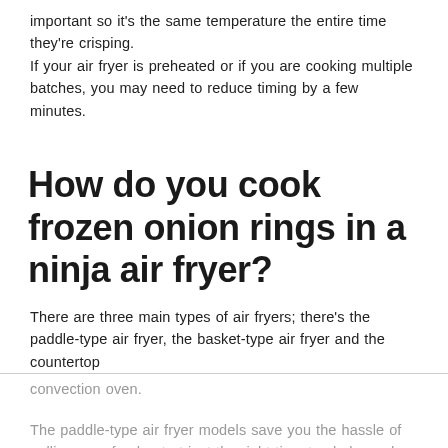important so it's the same temperature the entire time they're crisping. If your air fryer is preheated or if you are cooking multiple batches, you may need to reduce timing by a few minutes.
How do you cook frozen onion rings in a ninja air fryer?
There are three main types of air fryers; there's the paddle-type air fryer, the basket-type air fryer and the countertop convection oven.
The paddle-type air fryer models save you the hassle of pulling your food out at just the right time to shake and stir it. Instead,